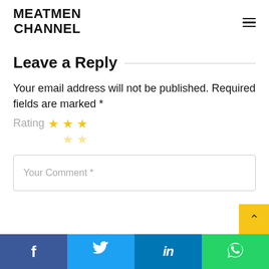MEATMEN CHANNEL
Leave a Reply
Your email address will not be published. Required fields are marked *
Rating ★ ★ ★ ☆ ☆
Your Comment *
Facebook | Twitter | LinkedIn | WhatsApp